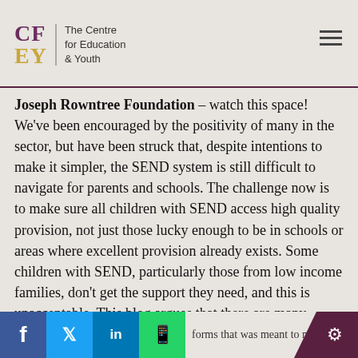The Centre for Education & Youth
Joseph Rowntree Foundation – watch this space! We've been encouraged by the positivity of many in the sector, but have been struck that, despite intentions to make it simpler, the SEND system is still difficult to navigate for parents and schools. The challenge now is to make sure all children with SEND access high quality provision, not just those lucky enough to be in schools or areas where excellent provision already exists. Some children with SEND, particularly those from low income families, don't get the support they need, and this is unacceptable. This blog argues that there are many solutions out there already, but that the system as a whole needs to become better at sharing information about what works.
forms that was meant to make